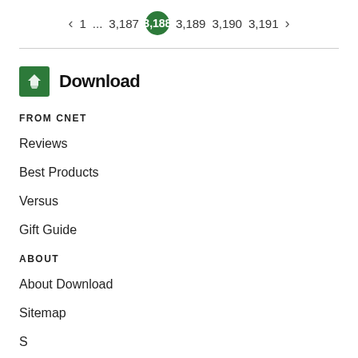< 1 ... 3,187 3,188 3,189 3,190 3,191 >
Download
FROM CNET
Reviews
Best Products
Versus
Gift Guide
ABOUT
About Download
Sitemap
S…